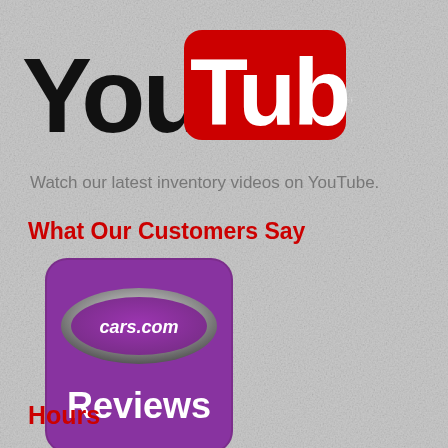[Figure (logo): YouTube logo with 'You' in black bold text and 'Tube' in white bold text on a red rounded rectangle background]
Watch our latest inventory videos on YouTube.
What Our Customers Say
[Figure (logo): cars.com Reviews logo — purple rounded square with a metallic oval cars.com badge and white 'Reviews' text below]
Hours